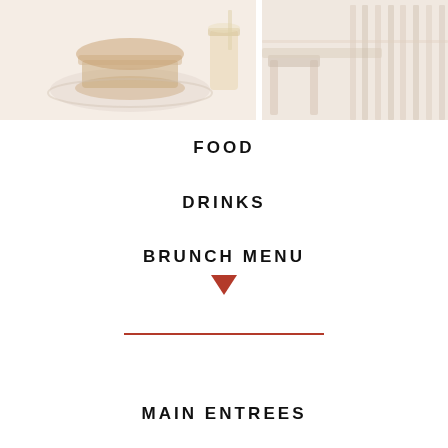[Figure (photo): Two faded/washed-out photos side by side: left shows a burger/food on a plate with a drink, right shows chairs or furniture in a restaurant setting.]
FOOD
DRINKS
BRUNCH MENU
MAIN ENTREES